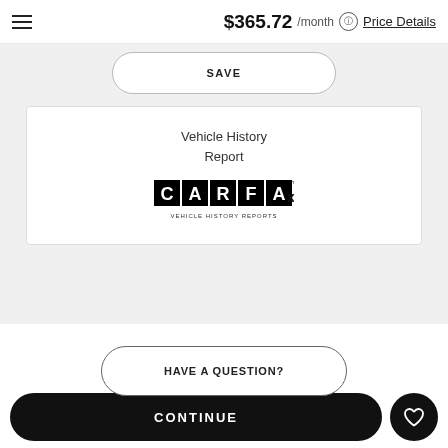$365.72 /month Price Details
SAVE
[Figure (logo): CARFAX Vehicle History Reports logo with black and white block lettering]
Vehicle History Report
HAVE A QUESTION?
Call
CONTINUE